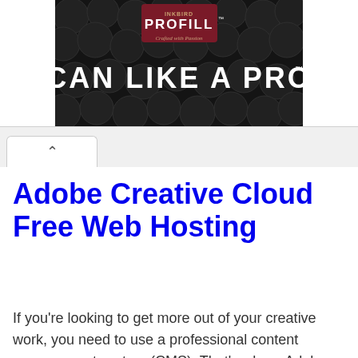[Figure (photo): Advertisement banner for Profill showing 'CAN LIKE A PRO' text over a dark background with metallic can lids]
Adobe Creative Cloud Free Web Hosting
If you're looking to get more out of your creative work, you need to use a professional content management system (CMS). That's where Adobes comes …